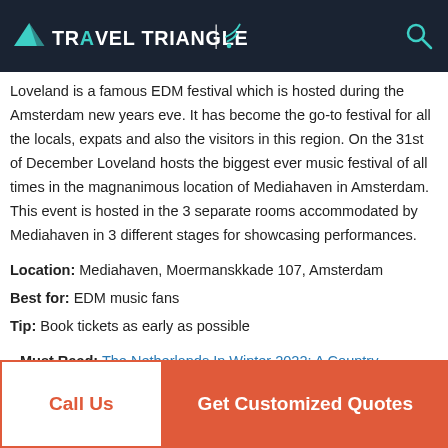TRAVEL TRIANGLE
Loveland is a famous EDM festival which is hosted during the Amsterdam new years eve. It has become the go-to festival for all the locals, expats and also the visitors in this region. On the 31st of December Loveland hosts the biggest ever music festival of all times in the magnanimous location of Mediahaven in Amsterdam. This event is hosted in the 3 separate rooms accommodated by Mediahaven in 3 different stages for showcasing performances.
Location: Mediahaven, Moermanskkade 107, Amsterdam
Best for: EDM music fans
Tip: Book tickets as early as possible
Must Read: The Netherlands In Winter 2022: A Country Tour Guide For This Exciting Season